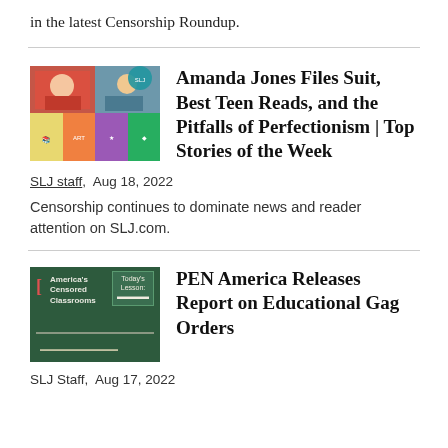in the latest Censorship Roundup.
[Figure (photo): Collage image of people and illustrated book covers for article about Amanda Jones]
Amanda Jones Files Suit, Best Teen Reads, and the Pitfalls of Perfectionism | Top Stories of the Week
SLJ staff,  Aug 18, 2022
Censorship continues to dominate news and reader attention on SLJ.com.
[Figure (photo): Chalkboard-style image reading America's Censored Classrooms with Today's Lesson text]
PEN America Releases Report on Educational Gag Orders
SLJ Staff,  Aug 17, 2022